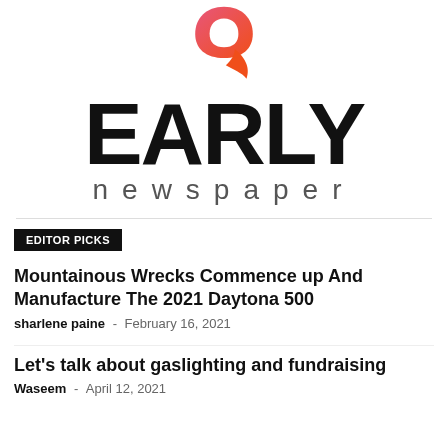[Figure (logo): Early Newspaper logo: gradient pink-orange-red quotation mark icon above bold black 'EARLY' text and gray spaced 'newspaper' text]
EDITOR PICKS
Mountainous Wrecks Commence up And Manufacture The 2021 Daytona 500
sharlene paine - February 16, 2021
Let's talk about gaslighting and fundraising
Waseem - April 12, 2021